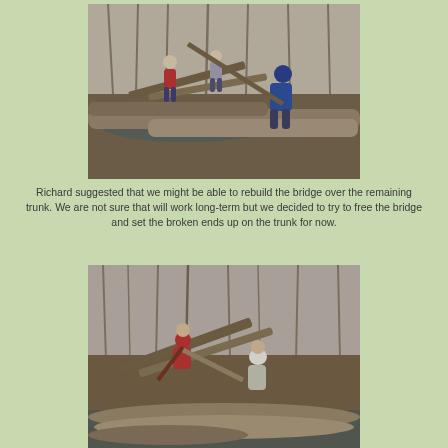[Figure (photo): Three people working around a broken wooden bridge over a stream in a bare winter forest. One person in a blue jacket is bending over logs, two others stand in the background.]
Richard suggested that we might be able to rebuild the bridge over the remaining trunk.  We are not sure that will work long-term but we decided to try to free the bridge and set the broken ends up on the trunk for now.
[Figure (photo): Two people working to free a broken wooden bridge over a stream in a winter forest. One person in a red jacket bends over, another in a white hat stands nearby. Large logs lie across the stream.]